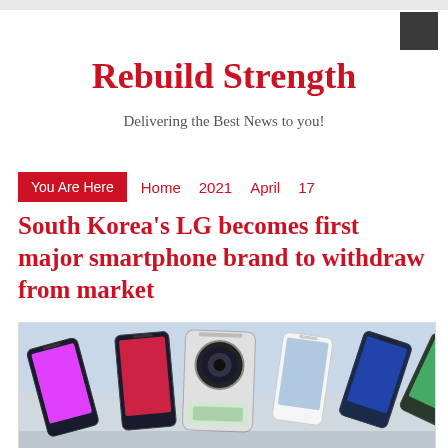Rebuild Strength
Delivering the Best News to you!
You Are Here   Home   2021   April   17
South Korea's LG becomes first major smartphone brand to withdraw from market
[Figure (photo): Multiple smartphones displayed in a fan/row arrangement, including LG and other brand phones, photographed from above on a light background.]